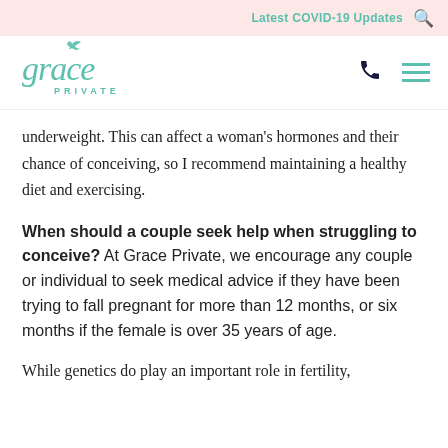Latest COVID-19 Updates
[Figure (logo): Grace Private clinic logo in teal/green color with stylized text]
underweight. This can affect a woman's hormones and their chance of conceiving, so I recommend maintaining a healthy diet and exercising.
When should a couple seek help when struggling to conceive? At Grace Private, we encourage any couple or individual to seek medical advice if they have been trying to fall pregnant for more than 12 months, or six months if the female is over 35 years of age.
While genetics do play an important role in fertility,